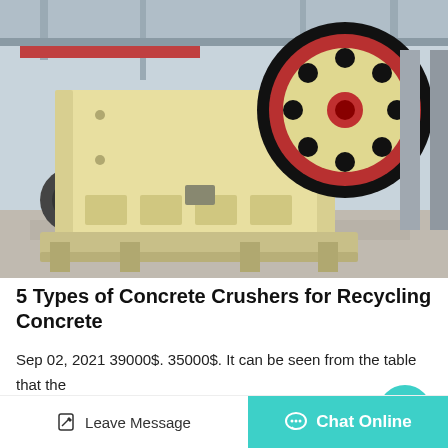[Figure (photo): A large yellow jaw crusher machine photographed in an industrial factory/warehouse setting. The machine has a large black-and-red flywheel on the right side and sits on a pallet-like base on a concrete floor.]
5 Types of Concrete Crushers for Recycling Concrete
Sep 02, 2021 39000$. 35000$. It can be seen from the table that the portable concrete crusher helps customers save costs, improves production efficiency, and brings obvious benefits of...